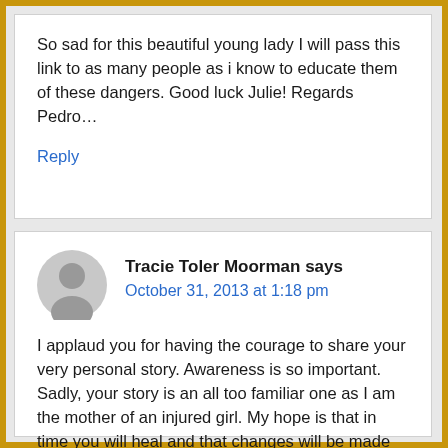So sad for this beautiful young lady I will pass this link to as many people as i know to educate them of these dangers. Good luck Julie! Regards Pedro…
Reply
Tracie Toler Moorman says
October 31, 2013 at 1:18 pm
I applaud you for having the courage to share your very personal story. Awareness is so important. Sadly, your story is an all too familiar one as I am the mother of an injured girl. My hope is that in time you will heal and that changes will be made so that this will not happen